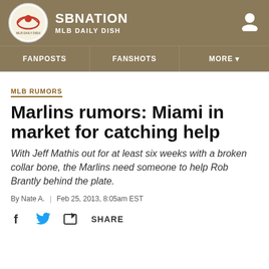SBNATION MLB DAILY DISH
FANPOSTS | FANSHOTS | MORE
MLB RUMORS
Marlins rumors: Miami in market for catching help
With Jeff Mathis out for at least six weeks with a broken collar bone, the Marlins need someone to help Rob Brantly behind the plate.
By Nate A. | Feb 25, 2013, 8:05am EST